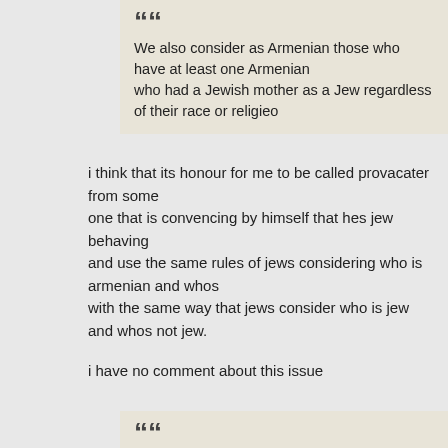We also consider as Armenian those who have at least one Armenian who had a Jewish mother as a Jew regardless of their race or religious
i think that its honour for me to be called provacater from some one that is convencing by himself that hes jew behaving and use the same rules of jews considering who is armenian and whos with the same way that jews consider who is jew and whos not jew.
i have no comment about this issue
Also, the type of people mentioned above must consider themselves a Armenian. If somebody who is black or muslim of Armenian origin, or consider himself/herself as an Armenian, then we do not consider the .
once again i will repeat what i said before.
beeing armenian or not is NOT like joining any maffia or group or politica party.